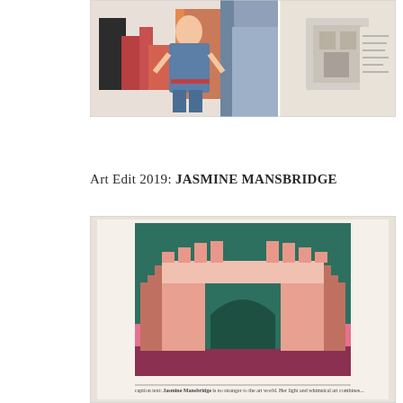[Figure (photo): A photograph showing a woman in denim overalls sitting among colorful geometric artworks and sculptures in a studio setting. On the right side is another image showing a sculptural model or artwork on a wall.]
Art Edit 2019: JASMINE MANSBRIDGE
[Figure (photo): A photograph of an open magazine or book showing a painting by Jasmine Mansbridge. The painting depicts a pink and terracotta architectural arch/gateway structure on a green and pink background. Below the image is a caption text mentioning Jasmine Mansbridge.]